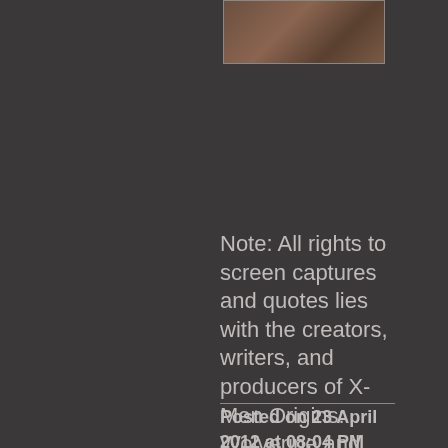[Figure (photo): A dark brownish-toned image/screenshot, partially visible at the top of the page]
Note: All rights to screen captures and quotes lies with the creators, writers, and producers of X-Men Origins: Wolverine and with Marvel comics.
Posted on 23 April 2012 at 08:04 PM